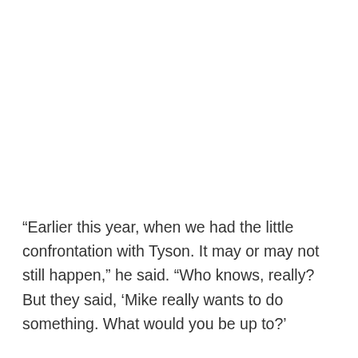“Earlier this year, when we had the little confrontation with Tyson. It may or may not still happen,” he said. “Who knows, really? But they said, ‘Mike really wants to do something. What would you be up to?’